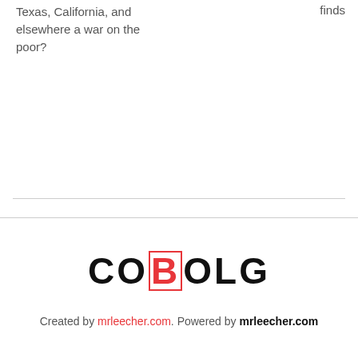Texas, California, and elsewhere a war on the poor?
finds
[Figure (logo): COBOLG logo with the letter B highlighted in red with a red border outline, rest of the letters in black bold text]
Created by mrleecher.com. Powered by mrleecher.com